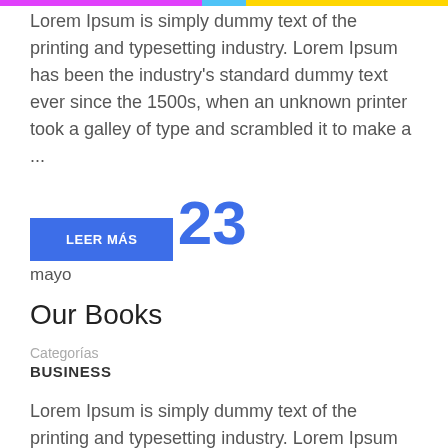Lorem Ipsum is simply dummy text of the printing and typesetting industry. Lorem Ipsum has been the industry's standard dummy text ever since the 1500s, when an unknown printer took a galley of type and scrambled it to make a ...
LEER MÁS
23
mayo
Our Books
Categorías
BUSINESS
Lorem Ipsum is simply dummy text of the printing and typesetting industry. Lorem Ipsum has been the industry's standard dummy text ever since the 1500s...